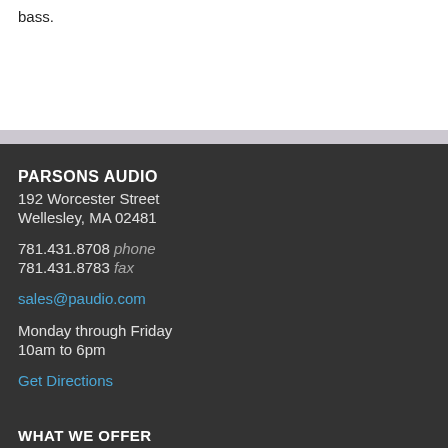bass.
PARSONS AUDIO
192 Worcester Street
Wellesley, MA 02481
781.431.8708 phone
781.431.8783 fax
sales@paudio.com
Monday through Friday
10am to 6pm
Get Directions
WHAT WE OFFER